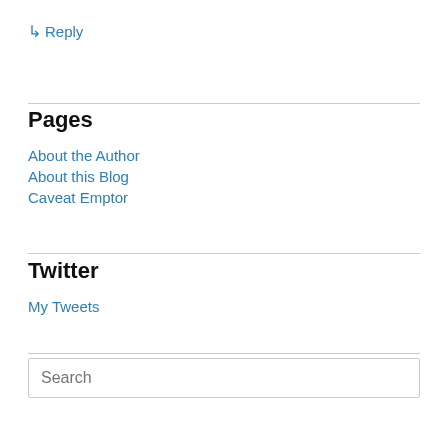↳ Reply
Pages
About the Author
About this Blog
Caveat Emptor
Twitter
My Tweets
Search